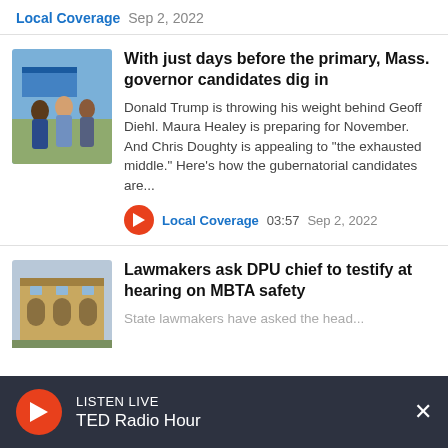Local Coverage  Sep 2, 2022
With just days before the primary, Mass. governor candidates dig in
Donald Trump is throwing his weight behind Geoff Diehl. Maura Healey is preparing for November. And Chris Doughty is appealing to "the exhausted middle." Here's how the gubernatorial candidates are...
Local Coverage  03:57  Sep 2, 2022
[Figure (photo): Photo of people at an outdoor event, gubernatorial campaign scene]
Lawmakers ask DPU chief to testify at hearing on MBTA safety
State lawmakers have asked the head...
[Figure (photo): Photo of building exterior, MBTA related]
LISTEN LIVE  TED Radio Hour